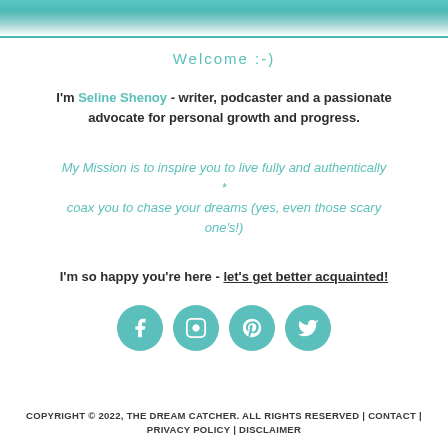[Figure (photo): Partial photo of a person visible at top of page with teal border]
Welcome :-)
I'm Seline Shenoy - writer, podcaster and a passionate advocate for personal growth and progress.
My Mission is to inspire you to live fully and authentically * coax you to chase your dreams (yes, even those scary one's!)
I'm so happy you're here - let's get better acquainted!
[Figure (other): Social media icons: Facebook, Instagram, Pinterest, Twitter — teal circles with white icons]
COPYRIGHT © 2022, THE DREAM CATCHER. ALL RIGHTS RESERVED | CONTACT | PRIVACY POLICY | DISCLAIMER